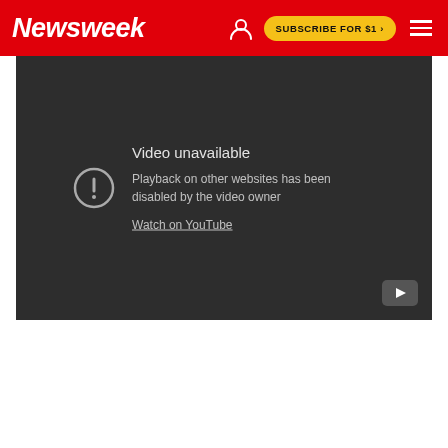Newsweek | SUBSCRIBE FOR $1 >
[Figure (screenshot): Embedded YouTube video player showing error: 'Video unavailable. Playback on other websites has been disabled by the video owner. Watch on YouTube']